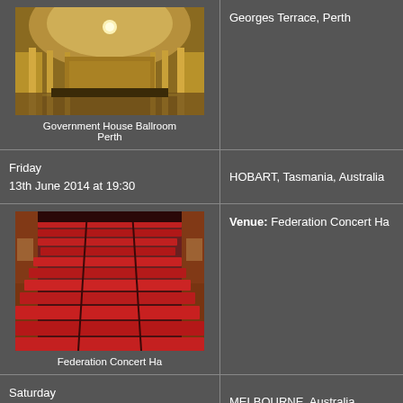[Figure (photo): Interior of Government House Ballroom, Perth – ornate golden hall with chandeliers]
Government House Ballroom
Perth
Georges Terrace, Perth
Friday
13th June 2014 at 19:30
HOBART, Tasmania, Australia
[Figure (photo): Interior of Federation Concert Hall – rows of red seats in tiered auditorium]
Federation Concert Ha
Venue: Federation Concert Ha
Saturday
7th June 2014 at 20:00
MELBOURNE, Australia
[Figure (photo): Interior of Melbourne Arts Centre – blue-lit auditorium with tiered seating]
Venue: Melbourne Arts Centre